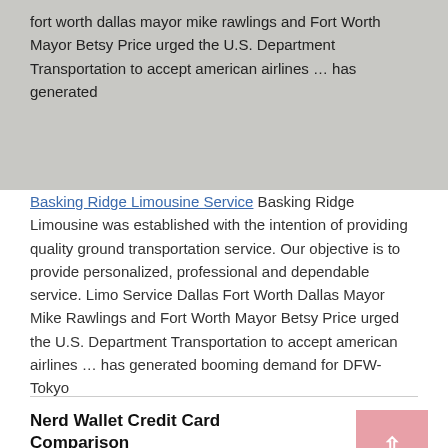[Figure (photo): Gray textured background with white outlined rectangles/boxes; overlaid text about fort worth dallas mayor mike rawlings and Fort Worth Mayor Betsy Price urging U.S. Department Transportation to accept american airlines ... has generated]
Basking Ridge Limousine Service Basking Ridge Limousine was established with the intention of providing quality ground transportation service. Our objective is to provide personalized, professional and dependable service. Limo Service Dallas Fort Worth Dallas Mayor Mike Rawlings and Fort Worth Mayor Betsy Price urged the U.S. Department Transportation to accept american airlines ... has generated booming demand for DFW-Tokyo
Nerd Wallet Credit Card Comparison
← Previous Post
Sjc Airport Car Rental